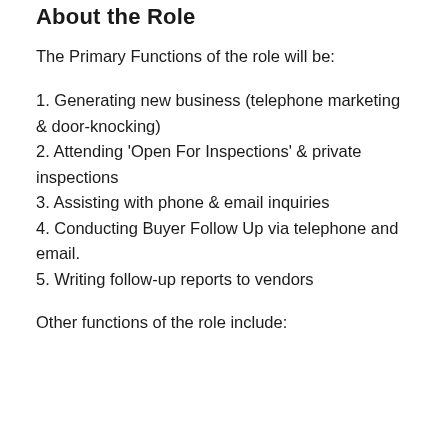About the Role
The Primary Functions of the role will be:
1. Generating new business (telephone marketing & door-knocking)
2. Attending 'Open For Inspections' & private inspections
3. Assisting with phone & email inquiries
4. Conducting Buyer Follow Up via telephone and email.
5. Writing follow-up reports to vendors
Other functions of the role include: